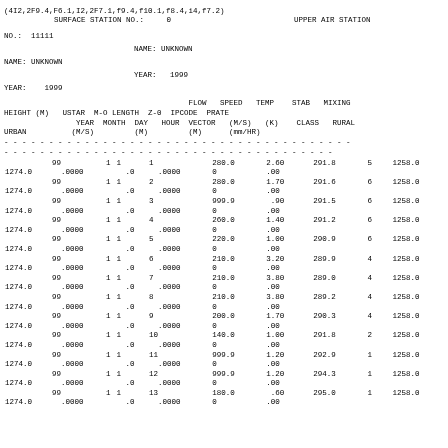(4I2,2F9.4,F6.1,I2,2F7.1,f9.4,f10.1,f8.4,i4,f7.2)
SURFACE STATION NO.:  0         UPPER AIR STATION NO.: 11111
NAME: UNKNOWN              NAME: UNKNOWN
YEAR: 1999                 YEAR:  1999
| HEIGHT (M) | USTAR | M-O LENGTH | Z-0 | FLOW IPCODE VECTOR | SPEED PRATE (M/S) (mm/HR) | TEMP (K) | STAB CLASS | MIXING RURAL URBAN | YEAR MONTH DAY HOUR (M/S) (M) (M) |
| --- | --- | --- | --- | --- | --- | --- | --- | --- | --- |
|  | 99 | 1 | 1 | 1 | 280.0 | 2.60 | 291.8 | 5 | 1258.0 |
| 1274.0 | .0000 |  | .0 | .0000 | 0 | .00 |  |  |  |
|  | 99 | 1 | 1 | 2 | 280.0 | 1.70 | 291.6 | 6 | 1258.0 |
| 1274.0 | .0000 |  | .0 | .0000 | 0 | .00 |  |  |  |
|  | 99 | 1 | 1 | 3 | 999.9 | .90 | 291.5 | 6 | 1258.0 |
| 1274.0 | .0000 |  | .0 | .0000 | 0 | .00 |  |  |  |
|  | 99 | 1 | 1 | 4 | 260.0 | 1.40 | 291.2 | 6 | 1258.0 |
| 1274.0 | .0000 |  | .0 | .0000 | 0 | .00 |  |  |  |
|  | 99 | 1 | 1 | 5 | 220.0 | 1.00 | 290.9 | 6 | 1258.0 |
| 1274.0 | .0000 |  | .0 | .0000 | 0 | .00 |  |  |  |
|  | 99 | 1 | 1 | 6 | 210.0 | 3.20 | 289.9 | 4 | 1258.0 |
| 1274.0 | .0000 |  | .0 | .0000 | 0 | .00 |  |  |  |
|  | 99 | 1 | 1 | 7 | 210.0 | 3.80 | 289.0 | 4 | 1258.0 |
| 1274.0 | .0000 |  | .0 | .0000 | 0 | .00 |  |  |  |
|  | 99 | 1 | 1 | 8 | 210.0 | 3.80 | 289.2 | 4 | 1258.0 |
| 1274.0 | .0000 |  | .0 | .0000 | 0 | .00 |  |  |  |
|  | 99 | 1 | 1 | 9 | 200.0 | 1.70 | 290.3 | 4 | 1258.0 |
| 1274.0 | .0000 |  | .0 | .0000 | 0 | .00 |  |  |  |
|  | 99 | 1 | 1 | 10 | 140.0 | 1.00 | 291.8 | 2 | 1258.0 |
| 1274.0 | .0000 |  | .0 | .0000 | 0 | .00 |  |  |  |
|  | 99 | 1 | 1 | 11 | 999.9 | 1.20 | 292.9 | 1 | 1258.0 |
| 1274.0 | .0000 |  | .0 | .0000 | 0 | .00 |  |  |  |
|  | 99 | 1 | 1 | 12 | 999.9 | 1.20 | 294.3 | 1 | 1258.0 |
| 1274.0 | .0000 |  | .0 | .0000 | 0 | .00 |  |  |  |
|  | 99 | 1 | 1 | 13 | 180.0 | .60 | 295.0 | 1 | 1258.0 |
| 1274.0 | .0000 |  | .0 | .0000 | 0 | .00 |  |  |  |